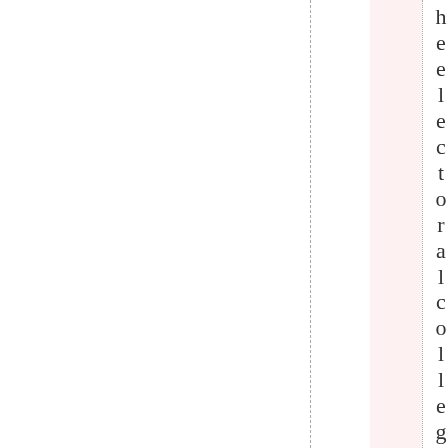he electoral college of affair